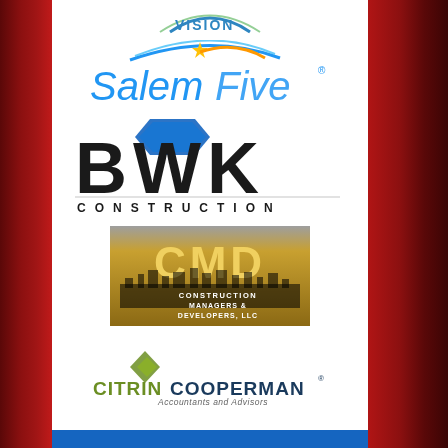[Figure (logo): Partial logo at top (partly cut off) - appears to be a blue/green arc logo with text partially visible]
[Figure (logo): SalemFive bank logo - blue italic text with yellow star accent and arc swoosh]
[Figure (logo): BWK Construction logo - large bold black letters BWK with blue geometric shape, CONSTRUCTION in spaced capitals below]
[Figure (logo): CMD Construction Managers & Developers LLC logo - gold/brown gradient box with CMD in gold letters and city skyline silhouette]
[Figure (logo): Citrin Cooperman Accountants and Advisors logo - green diamond icon, CITRIN in olive green and COOPERMAN in dark navy, Accountants and Advisors subtitle]